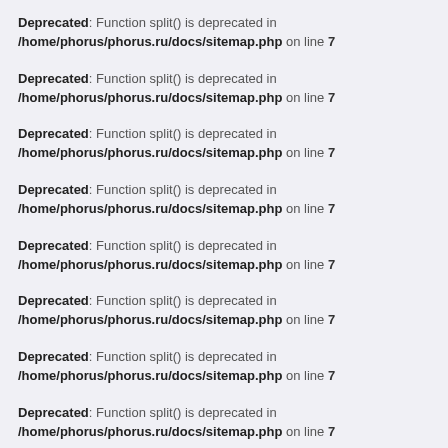Deprecated: Function split() is deprecated in /home/phorus/phorus.ru/docs/sitemap.php on line 7
Deprecated: Function split() is deprecated in /home/phorus/phorus.ru/docs/sitemap.php on line 7
Deprecated: Function split() is deprecated in /home/phorus/phorus.ru/docs/sitemap.php on line 7
Deprecated: Function split() is deprecated in /home/phorus/phorus.ru/docs/sitemap.php on line 7
Deprecated: Function split() is deprecated in /home/phorus/phorus.ru/docs/sitemap.php on line 7
Deprecated: Function split() is deprecated in /home/phorus/phorus.ru/docs/sitemap.php on line 7
Deprecated: Function split() is deprecated in /home/phorus/phorus.ru/docs/sitemap.php on line 7
Deprecated: Function split() is deprecated in /home/phorus/phorus.ru/docs/sitemap.php on line 7
Deprecated: Function split() is deprecated in